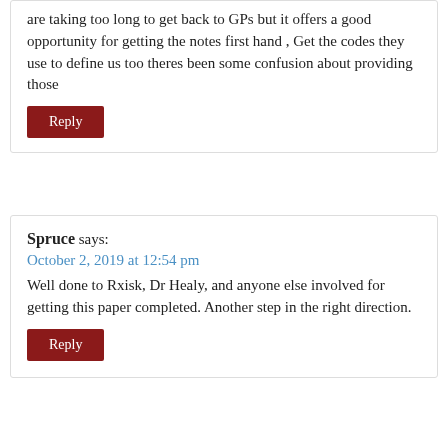are taking too long to get back to GPs but it offers a good opportunity for getting the notes first hand , Get the codes they use to define us too theres been some confusion about providing those
Reply
Spruce says:
October 2, 2019 at 12:54 pm
Well done to Rxisk, Dr Healy, and anyone else involved for getting this paper completed. Another step in the right direction.
Reply